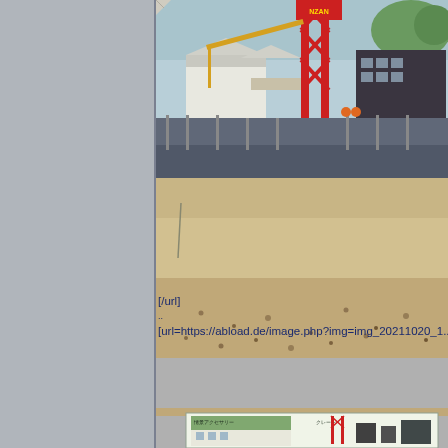[Figure (photo): Industrial harbor scene with a large red lattice crane structure, white warehouse buildings, and waterfront area. Appears to be a model or illustration of a Japanese industrial port.]
[/url]
..
[url=https://abload.de/image.php?img=img_20211020_1...
[Figure (photo): Close-up of sandy/beige textured surface, possibly a diorama base material.]
[Figure (photo): Bottom partial image showing a model railway accessory product with Japanese text '情景アクセサリー' and 'クレーン' (crane accessory set).]